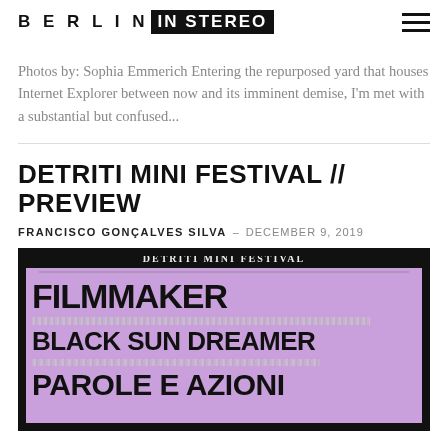BERLIN IN STEREO
Photos by: Sophia Emmerich Entering the repurposed yard that houses Internet Explorer between now and its imminent demise, I'm met with a substantial but confused...
DETRITI MINI FESTIVAL // PREVIEW
FRANCISCO GONÇALVES SILVA – DECEMBER 9, 2019
[Figure (photo): Festival poster for Detriti Mini Festival on a purple/lavender background with black text reading: DETRITI MINI FESTIVAL, FILMMAKER, BLACK SUN DREAMER, PAROLE E AZIONI]